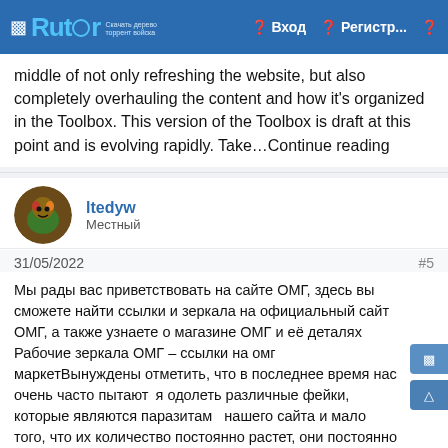Rutor | Вход | Регистр...
middle of not only refreshing the website, but also completely overhauling the content and how it's organized in the Toolbox. This version of the Toolbox is draft at this point and is evolving rapidly. Take…Continue reading
ltedyw
Местный
31/05/2022  #5
Мы рады вас приветствовать на сайте ОМГ, здесь вы сможете найти ссылки и зеркала на официальный сайт ОМГ, а также узнаете о магазине ОМГ и её деталях Рабочие зеркала ОМГ – ссылки на омг маркетВынуждены отметить, что в последнее время нас очень часто пытаются одолеть различные фейки, которые являются паразитами нашего сайта и мало того, что их количество постоянно растет, они постоянно атакуют на ДДОС атаками, большинство из которых нам не страшны из-за большого